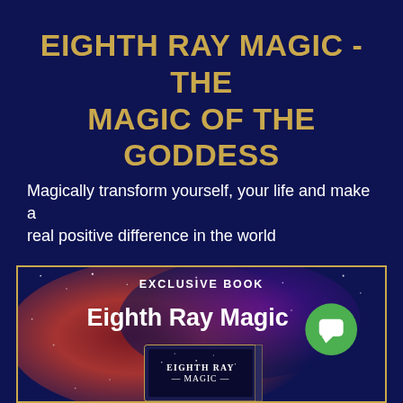EIGHTH RAY MAGIC - THE MAGIC OF THE GODDESS
Magically transform yourself, your life and make a real positive difference in the world
[Figure (illustration): Book cover advertisement image with cosmic nebula background (red and purple space imagery with stars). Text 'EXCLUSIVE BOOK' in white at top, 'Eighth Ray Magic' in large bold white letters, with a green chat bubble icon overlay on the right side. At bottom, the physical book cover showing 'EIGHTH RAY MAGIC - MAGIC -' title against a starry night background.]